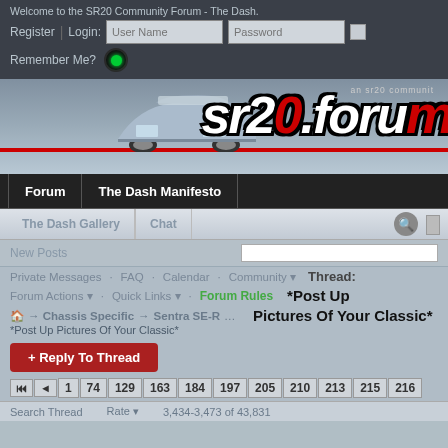Welcome to the SR20 Community Forum - The Dash.
Register | Login: User Name  Password
Remember Me?
[Figure (screenshot): SR20 Forum banner with car image and sr20.forum logo]
Forum | The Dash Manifesto
The Dash Gallery | Chat
New Posts | Private Messages | FAQ | Calendar | Community | Forum Actions | Quick Links | Forum Rules
Thread: *Post Up Pictures Of Your Classic*
Advanced Search
→ Chassis Specific → Sentra SE-R ... *Post Up Pictures Of Your Classic*
+ Reply To Thread
First 1 74 129 163 184 197 205 210 213 215 216
Search Thread